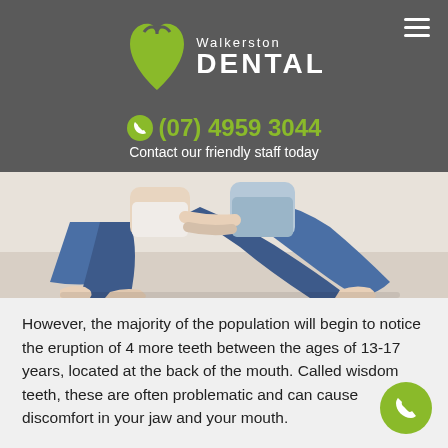[Figure (logo): Walkerston Dental logo with green tooth shape and white text. Hamburger menu icon in top right.]
(07) 4959 3044
Contact our friendly staff today
[Figure (photo): Two people sitting cross-legged on a light floor, wearing jeans, holding hands.]
However, the majority of the population will begin to notice the eruption of 4 more teeth between the ages of 13-17 years, located at the back of the mouth. Called wisdom teeth, these are often problematic and can cause discomfort in your jaw and your mouth.